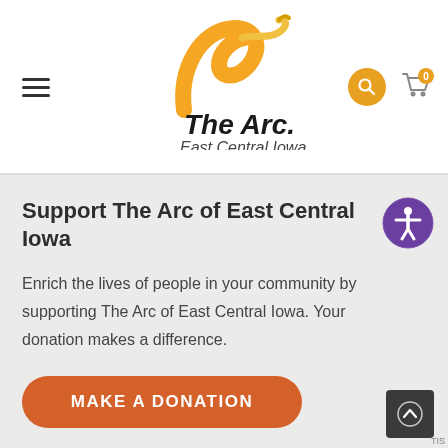[Figure (logo): The Arc East Central Iowa logo with orange swoosh above bold text 'The Arc.' and italic text 'East Central Iowa']
Support The Arc of East Central Iowa
Enrich the lives of people in your community by supporting The Arc of East Central Iowa. Your donation makes a difference.
[Figure (other): Orange rounded-rectangle button with white uppercase text 'MAKE A DONATION']